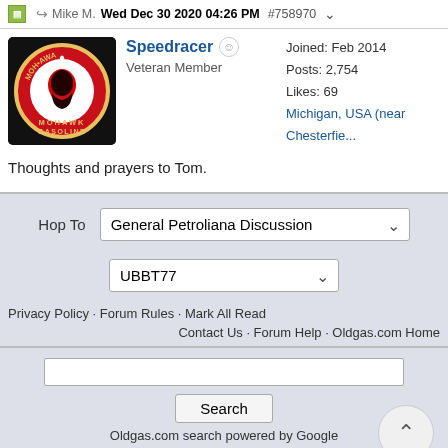Mike M.  Wed Dec 30 2020 04:26 PM  #758970
Speedracer
Veteran Member
Joined: Feb 2014
Posts: 2,754
Likes: 69
Michigan, USA (near Chesterfie...
Thoughts and prayers to Tom.
Hop To  General Petroliana Discussion
UBBT77
Privacy Policy · Forum Rules · Mark All Read
Contact Us · Forum Help · Oldgas.com Home
Oldgas.com search powered by Google
Click here for Gas Pump auction listings